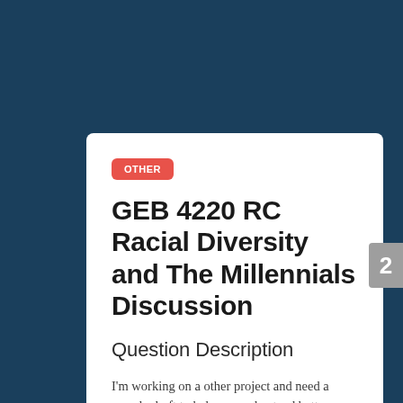OTHER
GEB 4220 RC Racial Diversity and The Millennials Discussion
Question Description
I'm working on a other project and need a sample draft to help me understand better.